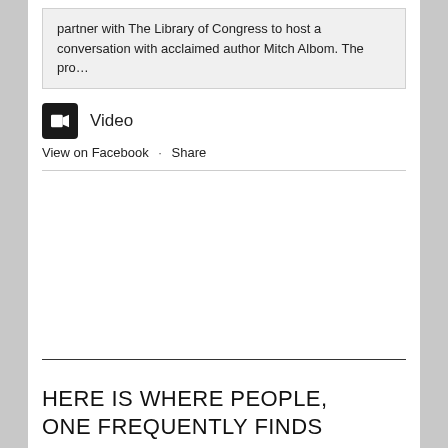partner with The Library of Congress to host a conversation with acclaimed author Mitch Albom. The pro…
[Figure (other): Video icon — black rectangle with camera icon]
Video
View on Facebook · Share
HERE IS WHERE PEOPLE, ONE FREQUENTLY FINDS